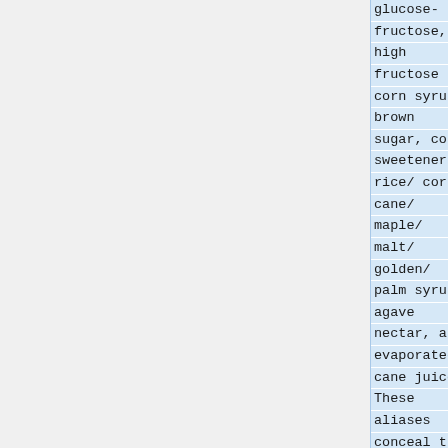glucose-fructose, high fructose corn syrup, brown sugar, corn sweetener, rice/ corn/ cane/ maple/ malt/ golden/ palm syrup, agave nectar, and evaporated cane juice. These aliases conceal the presence of